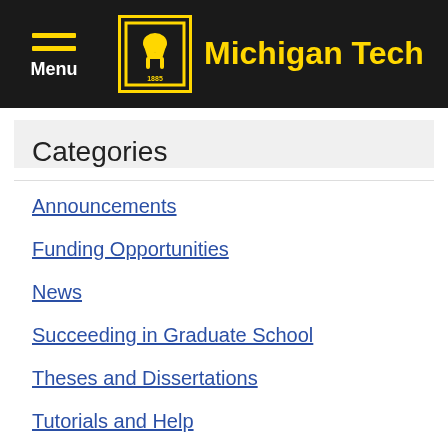Michigan Tech
Categories
Announcements
Funding Opportunities
News
Succeeding in Graduate School
Theses and Dissertations
Tutorials and Help
Latest Posts